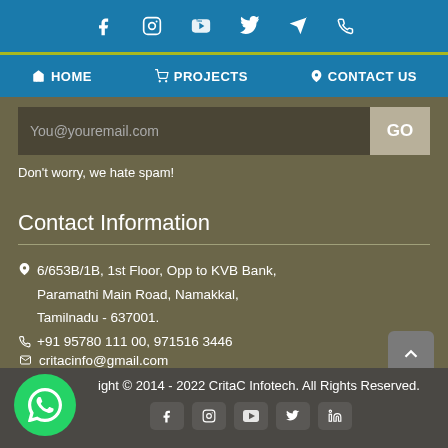[Figure (screenshot): Social media icons bar: Facebook, Instagram, YouTube, Twitter, Telegram, Phone — white icons on blue background]
HOME   PROJECTS   CONTACT US
You@youremail.com
Don't worry, we hate spam!
Contact Information
6/653B/1B, 1st Floor, Opp to KVB Bank, Paramathi Main Road, Namakkal, Tamilnadu - 637001.
+91 95780 111 00, 971516 3446
critacinfo@gmail.com
ight © 2014 - 2022 CritaC Infotech. All Rights Reserved.